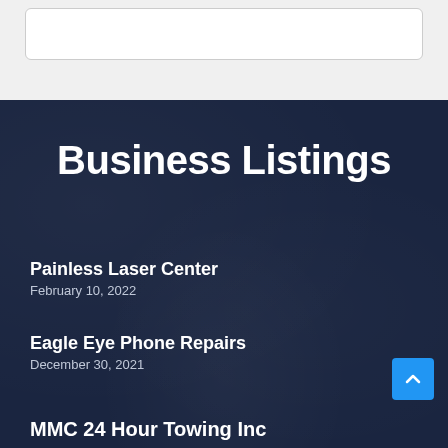[Figure (screenshot): Top section with white card on light gray background, partially visible]
Business Listings
Painless Laser Center
February 10, 2022
Eagle Eye Phone Repairs
December 30, 2021
MMC 24 Hour Towing Inc
[Figure (other): Blue scroll-to-top button with up chevron icon in bottom right corner]